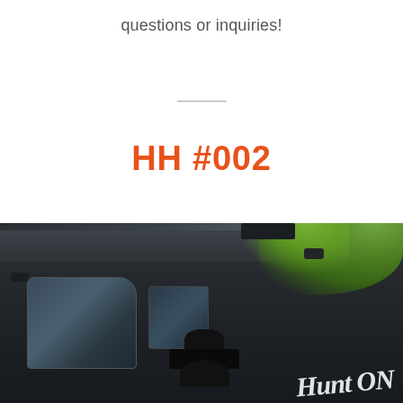questions or inquiries!
HH #002
[Figure (photo): Close-up photograph of a dark/black high-roof van (Sprinter-style) with a person wearing a black wide-brim hat visible through or beside the windshield. Green trees are visible in the upper right background. White cursive script lettering is visible on the van door on the right side.]